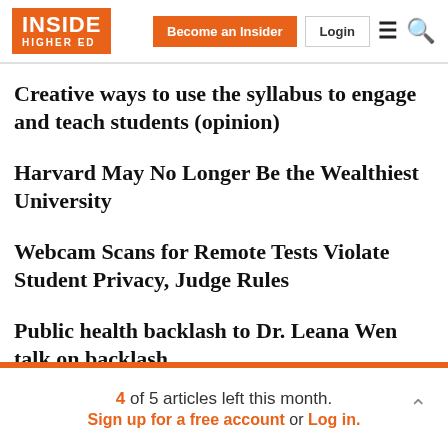INSIDE HIGHER ED | Become an Insider | Login
Creative ways to use the syllabus to engage and teach students (opinion)
Harvard May No Longer Be the Wealthiest University
Webcam Scans for Remote Tests Violate Student Privacy, Judge Rules
Public health backlash to Dr. Leana Wen talk on backlash
4 of 5 articles left this month. Sign up for a free account or Log in.